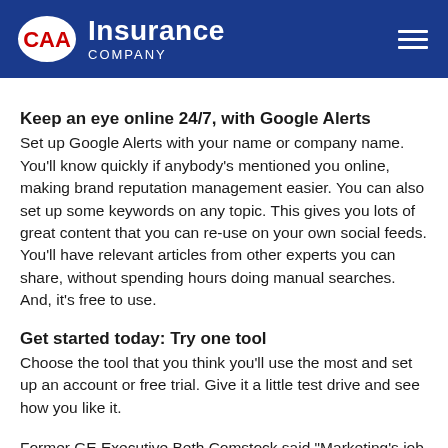CAA Insurance Company
Keep an eye online 24/7, with Google Alerts
Set up Google Alerts with your name or company name. You'll know quickly if anybody's mentioned you online, making brand reputation management easier. You can also set up some keywords on any topic. This gives you lots of great content that you can re-use on your own social feeds. You'll have relevant articles from other experts you can share, without spending hours doing manual searches. And, it's free to use.
Get started today: Try one tool
Choose the tool that you think you'll use the most and set up an account or free trial. Give it a little test drive and see how you like it.
Former GE Executive Beth Comstock said "Marketing's job is never done. It's about perpetual motion. We must continue to innovate every day." Making use of these